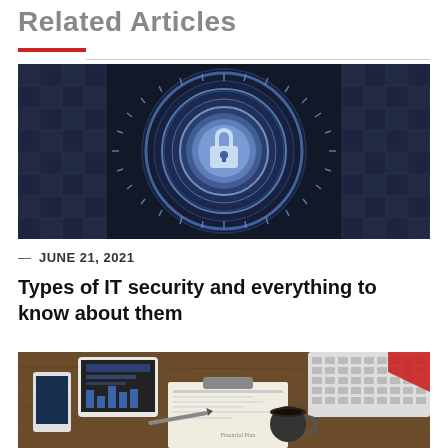Related Articles
[Figure (illustration): Cybersecurity digital illustration with a glowing padlock icon in the center surrounded by concentric circles and a grid/circuit board pattern on a dark blue background]
— JUNE 21, 2021
Types of IT security and everything to know about them
[Figure (photo): Photo of a desk workspace with tablets, smartphones, a laptop keyboard, documents including a financial report, a coffee cup, pen, and a red geometric shape]